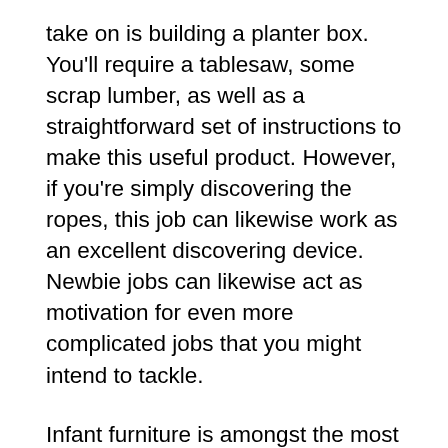take on is building a planter box. You'll require a tablesaw, some scrap lumber, as well as a straightforward set of instructions to make this useful product. However, if you're simply discovering the ropes, this job can likewise work as an excellent discovering device. Newbie jobs can likewise act as motivation for even more complicated jobs that you might intend to tackle.
Infant furniture is amongst the most basic woodworking jobs. A great deal of parents invest a lot of money on child products. You can produce a cute wooden crib toy or a wooden swing for your child. You can likewise make a cute little wooden picture structure for your child's area out of scraps. Just see to it to smooth the wood before you start